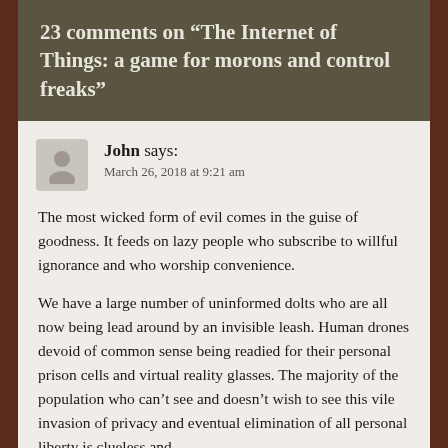23 comments on “The Internet of Things: a game for morons and control freaks”
John says:
March 26, 2018 at 9:21 am
The most wicked form of evil comes in the guise of goodness. It feeds on lazy people who subscribe to willful ignorance and who worship convenience.
We have a large number of uninformed dolts who are all now being lead around by an invisible leash. Human drones devoid of common sense being readied for their personal prison cells and virtual reality glasses. The majority of the population who can’t see and doesn’t wish to see this vile invasion of privacy and eventual elimination of all personal liberty is clueless and